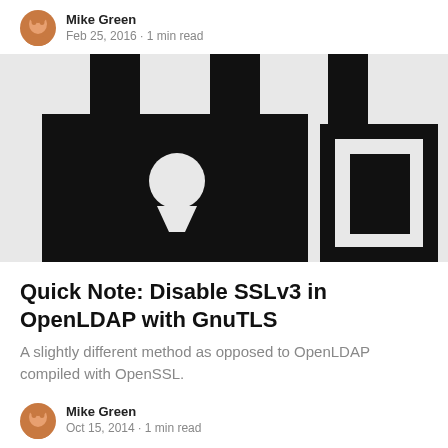Mike Green
Feb 25, 2016 · 1 min read
[Figure (illustration): A black and white illustration of padlocks — one closed padlock with a keyhole cutout on the left, and an open padlock on the right, against a light gray background.]
Quick Note: Disable SSLv3 in OpenLDAP with GnuTLS
A slightly different method as opposed to OpenLDAP compiled with OpenSSL.
Mike Green
Oct 15, 2014 · 1 min read